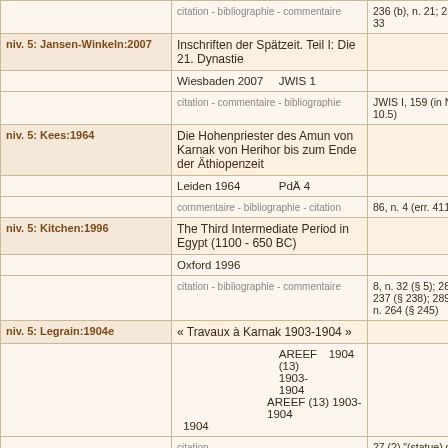| Level/Reference | Title / Publication info | Notes/Values |
| --- | --- | --- |
|  | citation - bibliographie - commentaire | 236 (b), n. 21; 237, n. 33 |
| niv. 5: Jansen-Winkeln:2007 | Inschriften der Spätzeit. Teil I: Die 21. Dynastie |  |
|  | Wiesbaden 2007   JWIS 1 |  |
|  | citation - commentaire - bibliographie | JWIS I, 159 (in Nr. 10.5) |
| niv. 5: Kees:1964 | Die Hohenpriester des Amun von Karnak von Herihor bis zum Ende der Äthiopenzeit |  |
|  | Leiden 1964   PdÄ 4 |  |
|  | commentaire - bibliographie - citation | 86, n. 4 (err. 41192) |
| niv. 5: Kitchen:1996 | The Third Intermediate Period in Egypt (1100 - 650 BC) |  |
|  | Oxford 1996 |  |
|  | citation - bibliographie - commentaire | 8, n. 32 (§ 5); 283, n. 237 (§ 238); 289-290, n. 264 (§ 245) |
| niv. 5: Legrain:1904e | « Travaux à Karnak 1903-1904 » |  |
|  | AREEF (13) 1903-1904   1904 |  |
|  | citation | 27 (?) "(statue) du roi Psioukhanou" |
|  | « Renseignements sur |  |